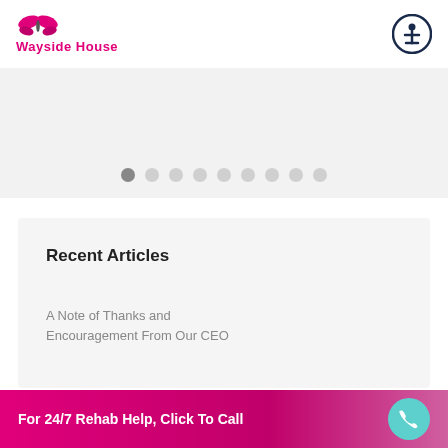[Figure (logo): Wayside House logo with butterfly graphic and pink wordmark]
[Figure (other): Accessibility icon — person in circle, dark navy border]
[Figure (other): Carousel pagination dots — first dot filled/dark, remaining 8 dots outlined/light gray]
Recent Articles
A Note of Thanks and Encouragement From Our CEO
[Figure (photo): Partial thumbnail image with text overlay reading 'AN ALCOHO...']
The Many Faces of an Alcoho...
For 24/7 Rehab Help, Click To Call